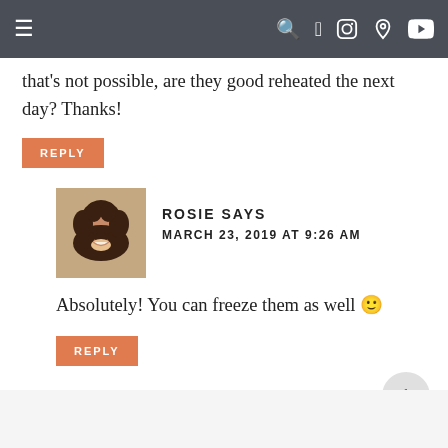Navigation bar with menu icon and social icons (search, facebook, instagram, pinterest, youtube)
that's not possible, are they good reheated the next day? Thanks!
REPLY
ROSIE SAYS
MARCH 23, 2019 AT 9:26 AM
Absolutely! You can freeze them as well 🙂
REPLY